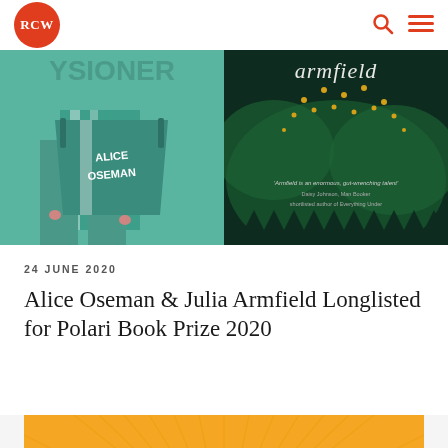RCW
[Figure (photo): Two book covers side by side: left is Alice Oseman's book with teal/green illustration showing legs and the text 'ALICE OSEMAN'; right is Julia Armfield's book with dark background and gold dots pattern with text 'armfield' and a quote.]
24 JUNE 2020
Alice Oseman & Julia Armfield Longlisted for Polari Book Prize 2020
[Figure (illustration): Orange sunburst pattern, partial view at bottom of page]